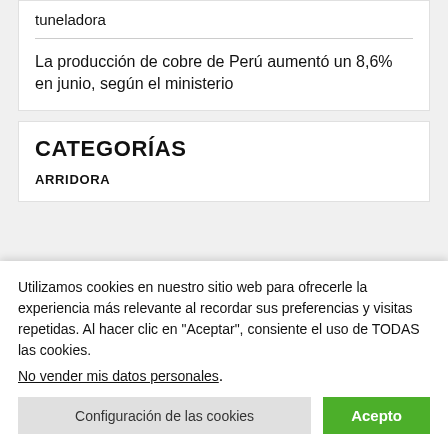tuneladora
La producción de cobre de Perú aumentó un 8,6% en junio, según el ministerio
CATEGORÍAS
ARRIDORA
Utilizamos cookies en nuestro sitio web para ofrecerle la experiencia más relevante al recordar sus preferencias y visitas repetidas. Al hacer clic en "Aceptar", consiente el uso de TODAS las cookies. No vender mis datos personales.
Configuración de las cookies
Acepto